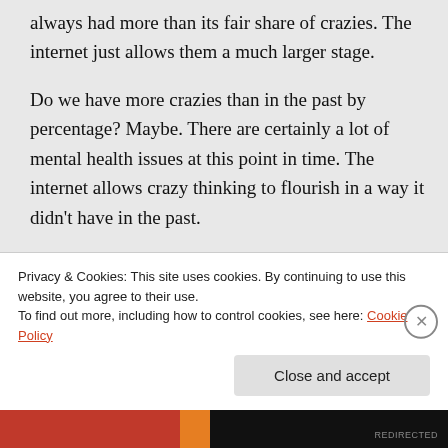always had more than its fair share of crazies. The internet just allows them a much larger stage.
Do we have more crazies than in the past by percentage? Maybe. There are certainly a lot of mental health issues at this point in time. The internet allows crazy thinking to flourish in a way it didn't have in the past.
Does America have more crazies than
Privacy & Cookies: This site uses cookies. By continuing to use this website, you agree to their use.
To find out more, including how to control cookies, see here: Cookie Policy